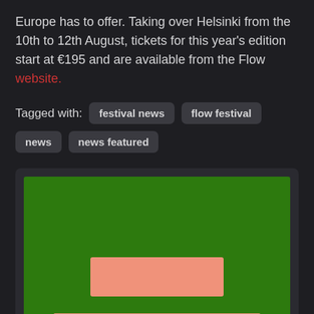Europe has to offer. Taking over Helsinki from the 10th to 12th August, tickets for this year's edition start at €195 and are available from the Flow website.
Tagged with: festival news  flow festival  news  news featured
[Figure (illustration): A green background image showing a pink/salmon colored rectangle in the center and three smaller pink/salmon rectangles along the bottom, partially visible.]